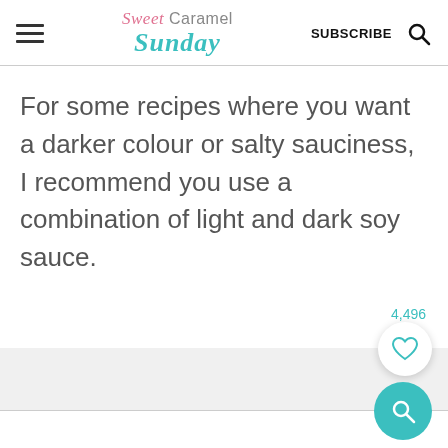Sweet Caramel Sunday | SUBSCRIBE
For some recipes where you want a darker colour or salty sauciness, I recommend you use a combination of light and dark soy sauce.
4,496